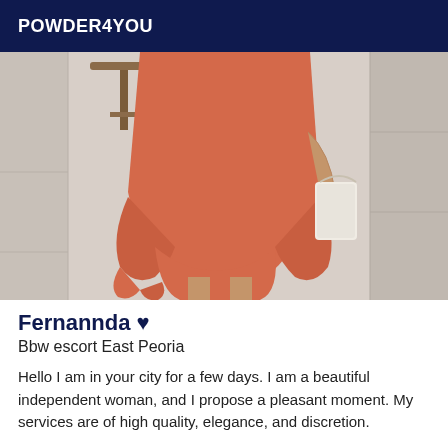POWDER4YOU
[Figure (photo): A woman in an orange/coral ruffled dress holding a white bag, standing on a tiled floor with a stool in the background.]
Fernannda ♥
Bbw escort East Peoria
Hello I am in your city for a few days. I am a beautiful independent woman, and I propose a pleasant moment. My services are of high quality, elegance, and discretion.